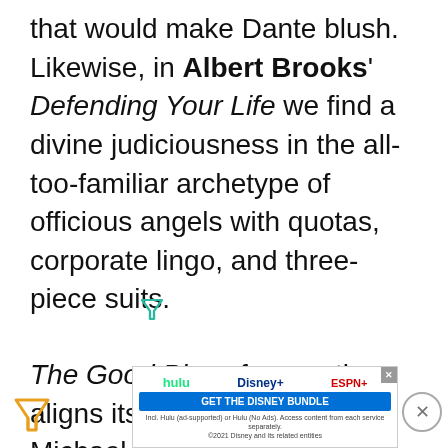that would make Dante blush. Likewise, in Albert Brooks' Defending Your Life we find a divine judiciousness in the all-too-familiar archetype of officious angels with quotas, corporate lingo, and three-piece suits.
[Figure (other): Small teal/green filter/funnel icon]
The Good Place frequently aligns itself with this motif. Michael, the Good Place's architect, and overs... ntly
[Figure (other): Advertisement banner: GET THE DISNEY BUNDLE with hulu, Disney+, ESPN+ logos. Fine print: Incl. Hulu (ad-supported) or Hulu (No Ads). Access content from each service separately. ©2021 Disney and its related entities]